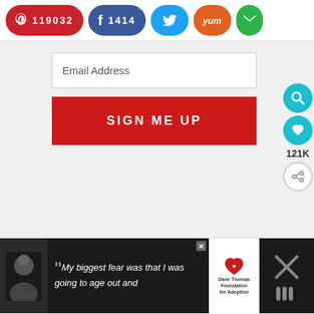[Figure (screenshot): Social share bar with Pinterest (119032), Facebook (1414), Twitter, Yummly, and email buttons]
[Figure (screenshot): Email signup form with Email Address input field and red SIGN ME UP button on gray background]
[Figure (screenshot): Right side floating icons: teal search circle, teal heart circle, 121K label, and share circle]
[Figure (screenshot): Bottom advertisement bar: person photo, quote text My biggest fear was that I was going to age out and, Dave Thomas Foundation for Adoption logo, close X button]